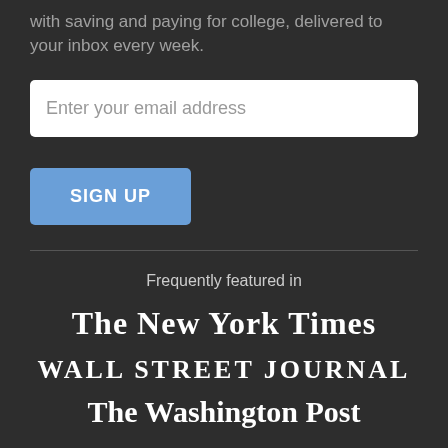with saving and paying for college, delivered to your inbox every week.
[Figure (other): Email input field with placeholder text 'Enter your email address']
[Figure (other): Blue 'SIGN UP' button]
Frequently featured in
[Figure (logo): The New York Times logo in blackletter font]
[Figure (logo): WALL STREET JOURNAL logo in bold serif capitals]
[Figure (logo): The Washington Post logo in blackletter font]